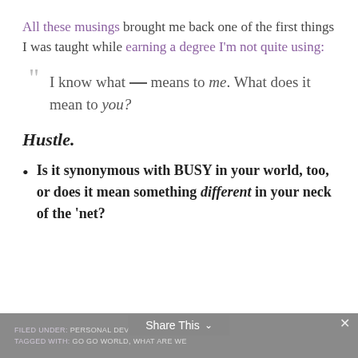All these musings brought me back one of the first things I was taught while earning a degree I'm not quite using:
"I know what __ means to me. What does it mean to you?
Hustle.
Is it synonymous with BUSY in your world, too, or does it mean something different in your neck of the 'net?
FILED UNDER: PERSONAL DEVELOPMENT  TAGGED WITH: GO GO WORLD, WHAT ARE WE